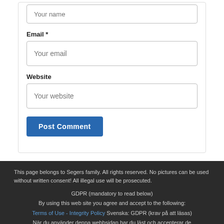[Figure (screenshot): Top of a web comment form showing a 'Your name' input field (partially visible at top), then 'Email *' label with input placeholder 'Your email', then 'Website' label with input placeholder 'Your website', then a blue 'Post Comment' button.]
This page belongs to Segers family. All rights reserved. No pictures can be used without written consent! All illegal use will be prosecuted.
GDPR (mandatory to read below)
By using this web site you agree and accept to the following:
Terms of Use - Integrity Policy Svenska: GDPR (krav på att läsas)
När du använder denna webbsidan har du läst och accepterar de
Allmänna villkoren - Integritetspolicyn
https://www.seger.nu